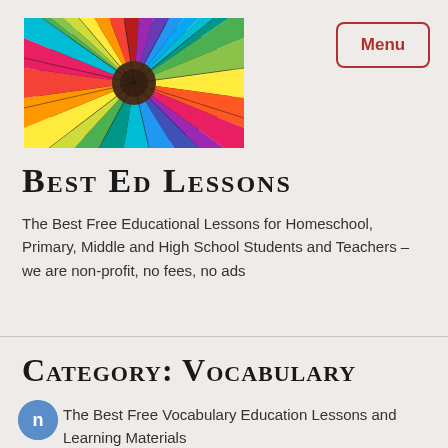[Figure (photo): Circular arrangement of colorful pencils viewed from above, tips meeting at center]
Best Ed Lessons
The Best Free Educational Lessons for Homeschool, Primary, Middle and High School Students and Teachers – we are non-profit, no fees, no ads
Category: Vocabulary
The Best Free Vocabulary Education Lessons and Learning Materials